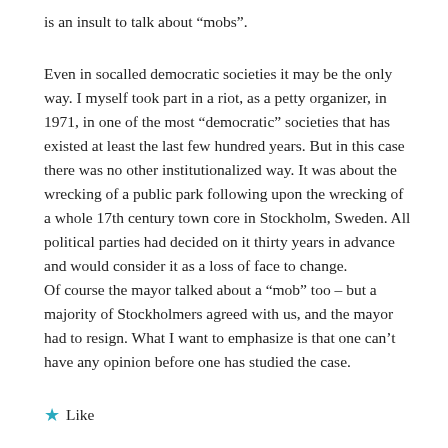is an insult to talk about “mobs”.
Even in socalled democratic societies it may be the only way. I myself took part in a riot, as a petty organizer, in 1971, in one of the most “democratic” societies that has existed at least the last few hundred years. But in this case there was no other institutionalized way. It was about the wrecking of a public park following upon the wrecking of a whole 17th century town core in Stockholm, Sweden. All political parties had decided on it thirty years in advance and would consider it as a loss of face to change.
Of course the mayor talked about a “mob” too – but a majority of Stockholmers agreed with us, and the mayor had to resign. What I want to emphasize is that one can’t have any opinion before one has studied the case.
★ Like